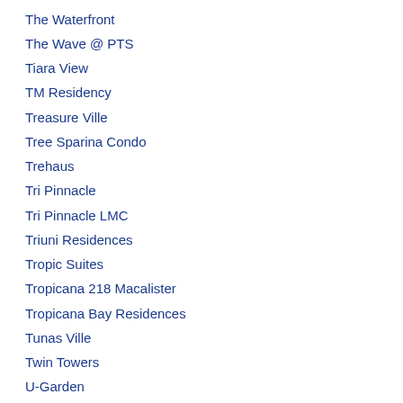The Waterfront
The Wave @ PTS
Tiara View
TM Residency
Treasure Ville
Tree Sparina Condo
Trehaus
Tri Pinnacle
Tri Pinnacle LMC
Triuni Residences
Tropic Suites
Tropicana 218 Macalister
Tropicana Bay Residences
Tunas Ville
Twin Towers
U-Garden
U1 Condominium
Uban Residence